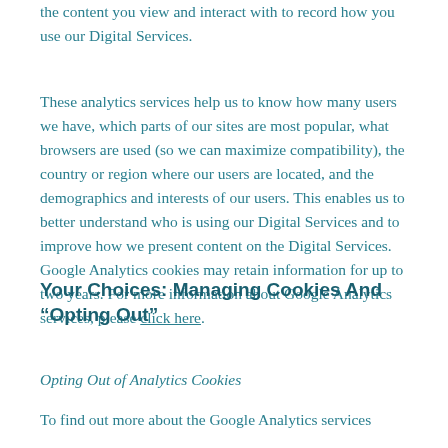the content you view and interact with to record how you use our Digital Services.
These analytics services help us to know how many users we have, which parts of our sites are most popular, what browsers are used (so we can maximize compatibility), the country or region where our users are located, and the demographics and interests of our users. This enables us to better understand who is using our Digital Services and to improve how we present content on the Digital Services. Google Analytics cookies may retain information for up to two years. For more information about Google Analytics services, please click here.
Your Choices: Managing Cookies And “Opting Out”
Opting Out of Analytics Cookies
To find out more about the Google Analytics services